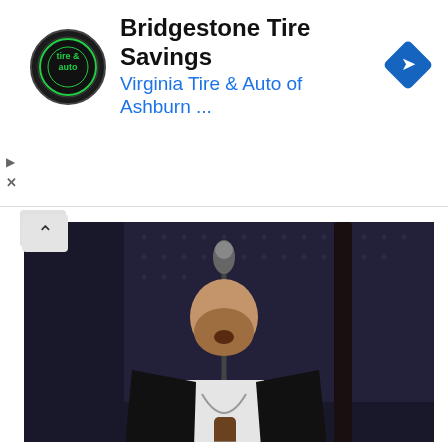[Figure (other): Advertisement banner for Bridgestone Tire Savings / Virginia Tire & Auto of Ashburn with circular logo and blue arrow diamond icon]
[Figure (photo): A male musician with beard singing into a microphone while playing an acoustic guitar on stage, wearing a black blazer and white shirt, with blue stage lighting in the background]
ENTERTAINMENT
John Mellencamp criticizes politicians for ‘vague notion’ of new gun control